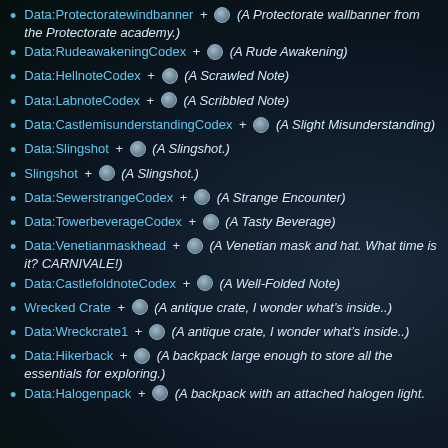Data:Protectoratewindbanner + (A Protectorate wallbanner from the Protectorate academy.)
Data:RudeawakeningCodex + (A Rude Awakening)
Data:HellnoteCodex + (A Scrawled Note)
Data:LabnoteCodex + (A Scribbled Note)
Data:CastlemisunderstandingCodex + (A Slight Misunderstanding)
Data:Slingshot + (A Slingshot.)
Slingshot + (A Slingshot.)
Data:SewerstrangeCodex + (A Strange Encounter)
Data:TowerbeverageCodex + (A Tasty Beverage)
Data:Venetianmaskhead + (A Venetian mask and hat. What time is it? CARNIVALE!)
Data:CastlefoldnoteCodex + (A Well-Folded Note)
Wrecked Crate + (A antique crate, I wonder what’s inside..)
Data:Wreckcrate1 + (A antique crate, I wonder what’s inside..)
Data:Hikerback + (A backpack large enough to store all the essentials for exploring.)
Data:Halogenpack + (A backpack with an attached halogen light.